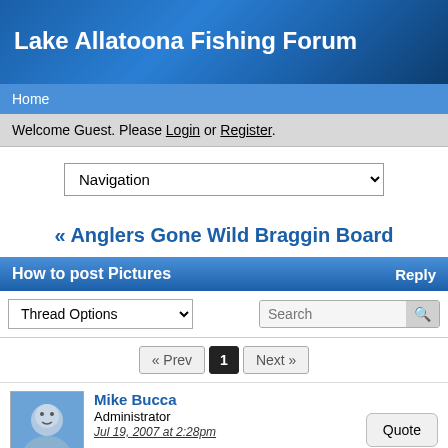Lake Allatoona Fishing Forum
Home
Welcome Guest. Please Login or Register.
Navigation
« Anglers Gone Wild Braggin Board
How to post Pictures
Reply
Thread Options
Search
« Prev  1  Next »
Mike Bucca
Administrator
Jul 19, 2007 at 2:28pm
Quote
The easiest way to post pictures is as follows.
1.  For starters you will have to have the picture you want to post on the